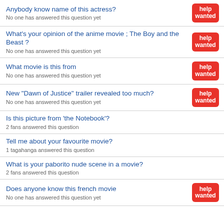Anybody know name of this actress?
No one has answered this question yet
What's your opinion of the anime movie ; The Boy and the Beast ?
No one has answered this question yet
What movie is this from
No one has answered this question yet
New "Dawn of Justice" trailer revealed too much?
No one has answered this question yet
Is this picture from 'the Notebook'?
2 fans answered this question
Tell me about your favourite movie?
1 tagahanga answered this question
What is your paborito nude scene in a movie?
2 fans answered this question
Does anyone know this french movie
No one has answered this question yet